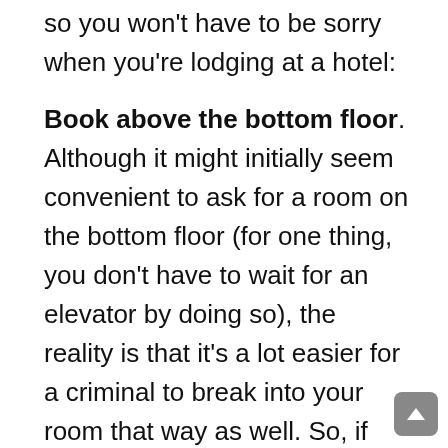so you won't have to be sorry when you're lodging at a hotel:
Book above the bottom floor. Although it might initially seem convenient to ask for a room on the bottom floor (for one thing, you don't have to wait for an elevator by doing so), the reality is that it's a lot easier for a criminal to break into your room that way as well. So, if you can avoid being on the same floor as the lobby, that's usually best.
Keep your items close. When you're in the midst of checking in (or out) of the hotel, treat your items in the same manner as you do while being in an airport. Keep your bags with you at all times, do not leave your items elsewhere while waiting